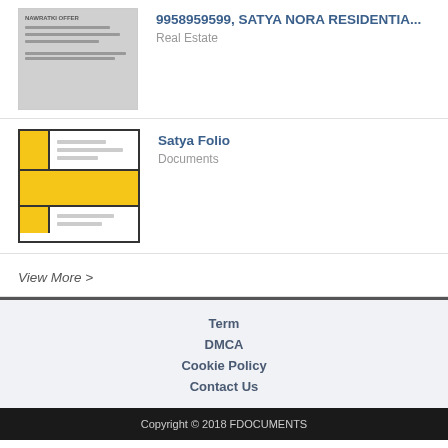[Figure (screenshot): Thumbnail of real estate document with gray/white background]
9958959599, SATYA NORA RESIDENTIA...
Real Estate
[Figure (screenshot): Thumbnail of Satya Folio document with yellow and white blocks]
Satya Folio
Documents
View More >
Term
DMCA
Cookie Policy
Contact Us
Copyright © 2018 FDOCUMENTS